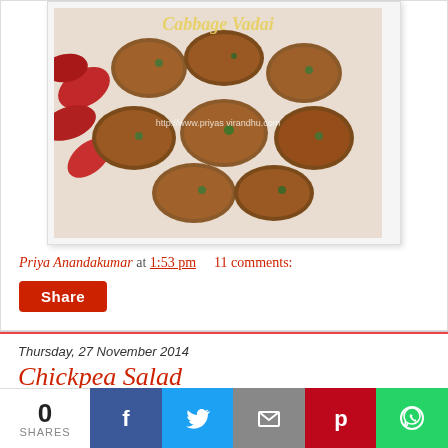[Figure (photo): Photo of Cabbage Vadai – fried lentil fritters on a white plate with red flower petals, with watermark http://www.priyas virandhu.com]
Priya Anandakumar at 1:53 pm    11 comments:
Share
Thursday, 27 November 2014
Chickpea Salad
Hello friends,
0 SHARES